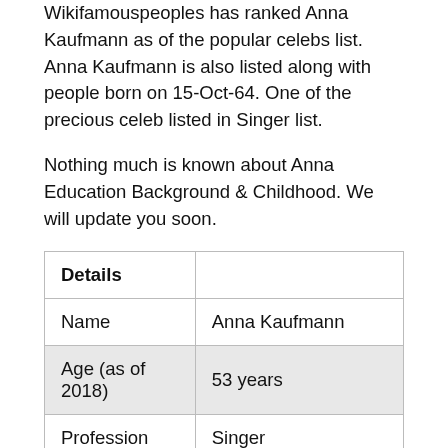Wikifamouspeoples has ranked Anna Kaufmann as of the popular celebs list. Anna Kaufmann is also listed along with people born on 15-Oct-64. One of the precious celeb listed in Singer list.
Nothing much is known about Anna Education Background & Childhood. We will update you soon.
| Details |  |
| --- | --- |
| Name | Anna Kaufmann |
| Age (as of 2018) | 53 years |
| Profession | Singer |
| Birth Date | 15-Oct-64 |
| Birth Place | Edmonton, Alberta Canada |